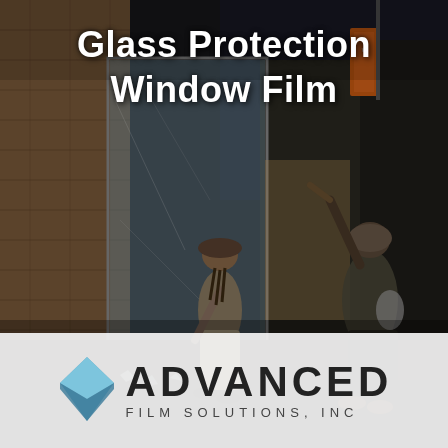[Figure (photo): Nighttime street scene showing two people smashing a storefront window. The building has brick exterior with large glass windows. Shattered glass and debris on the sidewalk. An orange banner visible in the background. Dark, dramatic urban setting.]
Glass Protection Window Film
[Figure (logo): Advanced Film Solutions, Inc. logo — blue diamond/triangle shape on left, large bold text ADVANCED on right, smaller spaced text FILM SOLUTIONS, INC below it. White/light background bar at bottom of page.]